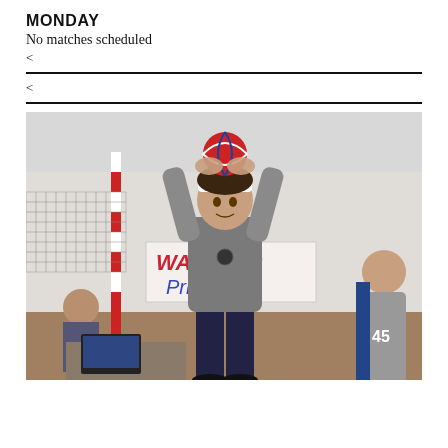MONDAY
No matches scheduled
<
<
[Figure (photo): A female volleyball player in a gray jersey and dark shorts sets a red, white, and blue volleyball above her head near the net in an indoor gymnasium. A 'Warrior Pride' banner is visible in the background, along with spectators and another player.]